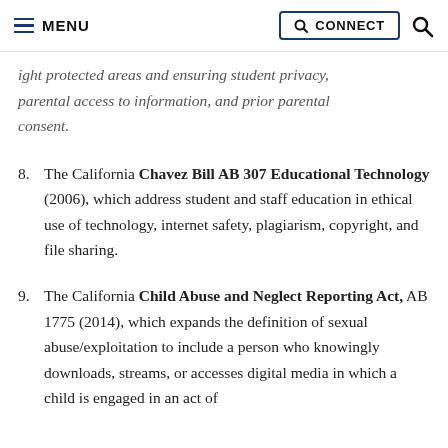MENU | Q CONNECT | Q
ight protected areas and ensuring student privacy, parental access to information, and prior parental consent.
8. The California Chavez Bill AB 307 Educational Technology (2006), which address student and staff education in ethical use of technology, internet safety, plagiarism, copyright, and file sharing.
9. The California Child Abuse and Neglect Reporting Act, AB 1775 (2014), which expands the definition of sexual abuse/exploitation to include a person who knowingly downloads, streams, or accesses digital media in which a child is engaged in an act of